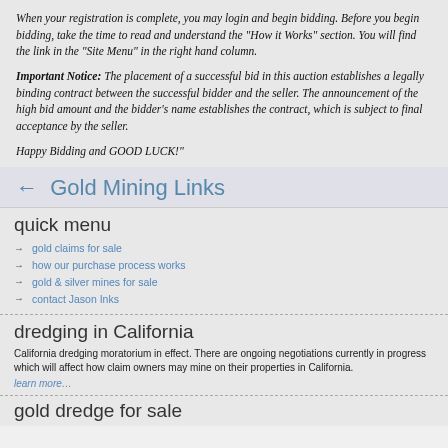When your registration is complete, you may login and begin bidding. Before you begin bidding, take the time to read and understand the "How it Works" section. You will find the link in the "Site Menu" in the right hand column.
Important Notice: The placement of a successful bid in this auction establishes a legally binding contract between the successful bidder and the seller. The announcement of the high bid amount and the bidder's name establishes the contract, which is subject to final acceptance by the seller.
Happy Bidding and GOOD LUCK!"
← Gold Mining Links
quick menu
gold claims for sale
how our purchase process works
gold & silver mines for sale
contact Jason Inks
dredging in California
California dredging moratorium in effect. There are ongoing negotiations currently in progress which will affect how claim owners may mine on their properties in California.
learn more…
gold dredge for sale